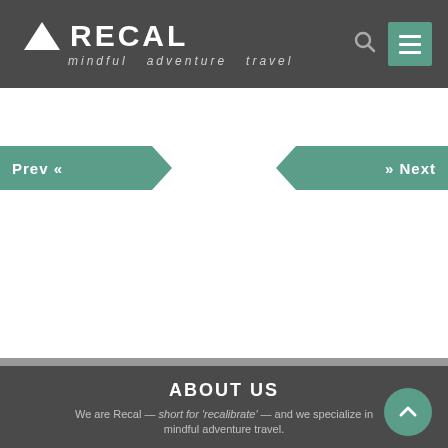RECAL — mindful adventure travel
Prev «
» Next
ABOUT US
We are Recal — short for 'recalibrate' — and we specialize in mindful adventure travel.